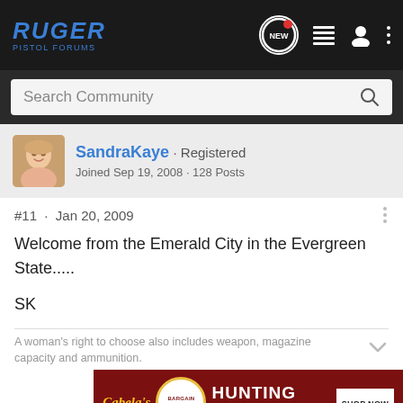RUGER PISTOL FORUMS — navigation bar with search
SandraKaye · Registered
Joined Sep 19, 2008 · 128 Posts
#11 · Jan 20, 2009
Welcome from the Emerald City in the Evergreen State.....

SK
A woman's right to choose also includes weapon, magazine capacity and ammunition.
[Figure (screenshot): Cabela's Bargain Cave Hunting Clearance advertisement banner with Shop Now button]